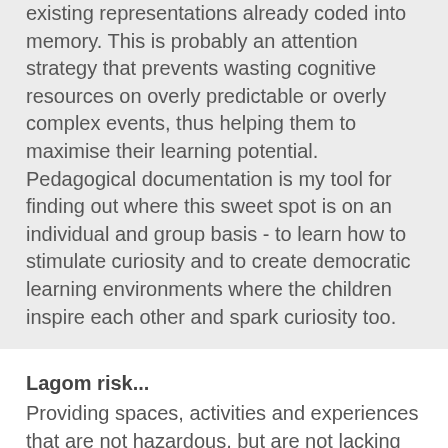existing representations already coded into memory. This is probably an attention strategy that prevents wasting cognitive resources on overly predictable or overly complex events, thus helping them to maximise their learning potential. Pedagogical documentation is my tool for finding out where this sweet spot is on an individual and group basis - to learn how to stimulate curiosity and to create democratic learning environments where the children inspire each other and spark curiosity too.
Lagom risk...
Providing spaces, activities and experiences that are not hazardous, but are not lacking adventure either...